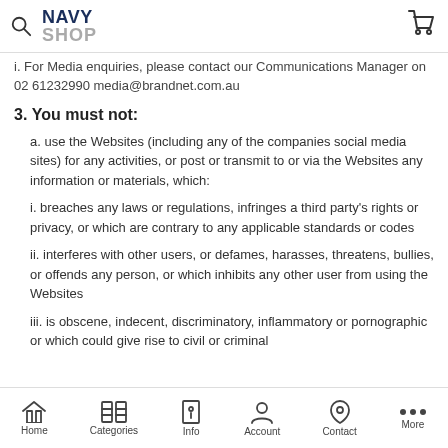NAVY SHOP
i. For Media enquiries, please contact our Communications Manager on 02 61232990 media@brandnet.com.au
3. You must not:
a. use the Websites (including any of the companies social media sites) for any activities, or post or transmit to or via the Websites any information or materials, which:
i. breaches any laws or regulations, infringes a third party's rights or privacy, or which are contrary to any applicable standards or codes
ii. interferes with other users, or defames, harasses, threatens, bullies, or offends any person, or which inhibits any other user from using the Websites
iii. is obscene, indecent, discriminatory, inflammatory or pornographic or which could give rise to civil or criminal
Home  Categories  Info  Account  Contact  More